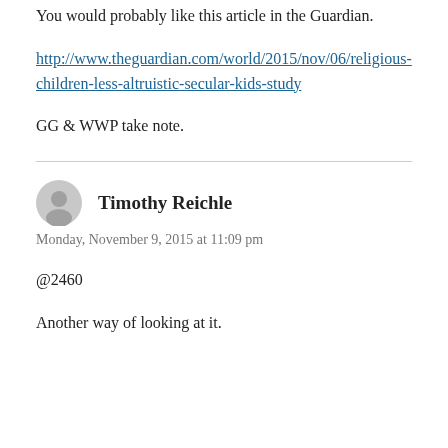You would probably like this article in the Guardian.
http://www.theguardian.com/world/2015/nov/06/religious-children-less-altruistic-secular-kids-study
GG & WWP take note.
Timothy Reichle
Monday, November 9, 2015 at 11:09 pm
@2460
Another way of looking at it.